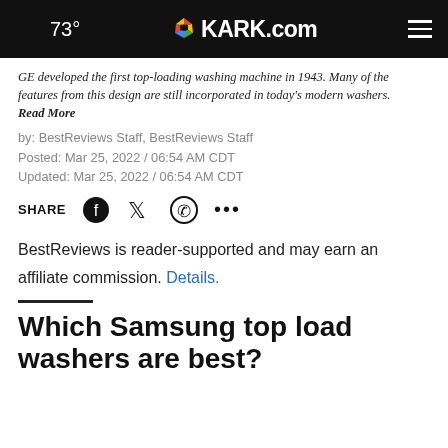🌙 73° KARK.com
GE developed the first top-loading washing machine in 1943. Many of the features from this design are still incorporated in today's modern washers.
Read More
by: BestReviews Staff, BestReviews Staff
Posted: Mar 25, 2022 / 06:54 AM CDT
Updated: Mar 25, 2022 / 06:54 AM CDT
SHARE
BestReviews is reader-supported and may earn an affiliate commission. Details.
Which Samsung top load washers are best?